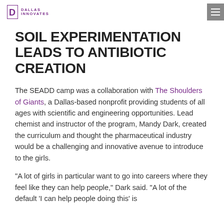DALLAS INNOVATES
SOIL EXPERIMENTATION LEADS TO ANTIBIOTIC CREATION
The SEADD camp was a collaboration with The Shoulders of Giants, a Dallas-based nonprofit providing students of all ages with scientific and engineering opportunities. Lead chemist and instructor of the program, Mandy Dark, created the curriculum and thought the pharmaceutical industry would be a challenging and innovative avenue to introduce to the girls.
“A lot of girls in particular want to go into careers where they feel like they can help people,” Dark said. “A lot of the default ‘I can help people doing this’ is